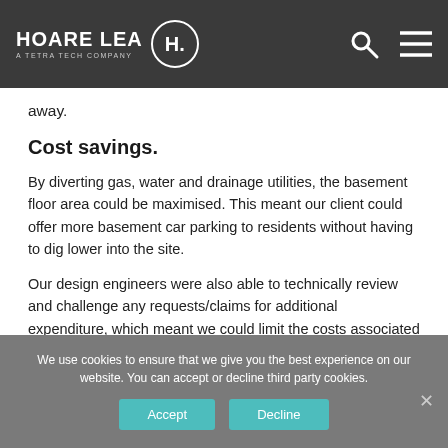HOARE LEA A TETRA TECH COMPANY
away.
Cost savings.
By diverting gas, water and drainage utilities, the basement floor area could be maximised. This meant our client could offer more basement car parking to residents without having to dig lower into the site.
Our design engineers were also able to technically review and challenge any requests/claims for additional expenditure, which meant we could limit the costs associated with these diversion works for our client.
We use cookies to ensure that we give you the best experience on our website. You can accept or decline third party cookies.